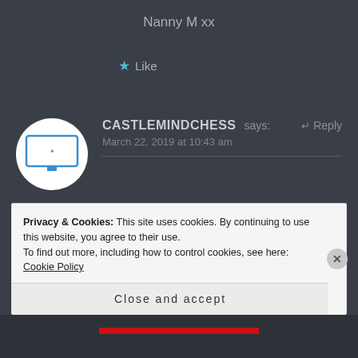Nanny M xx
★ Like
[Figure (illustration): Circular avatar with a white background showing a small monitor/screen icon with a person icon below it, in blue.]
CASTLEMINDCHESS says:
↵ Reply
March 22, 2019 at 10:43 am
I am so glad to read this , i saved this url as a bookmark. Thanks for been so real and inspiring. I have been doing a whole lot the wrong way , its time to get it
Privacy & Cookies: This site uses cookies. By continuing to use this website, you agree to their use.
To find out more, including how to control cookies, see here: Cookie Policy
Close and accept